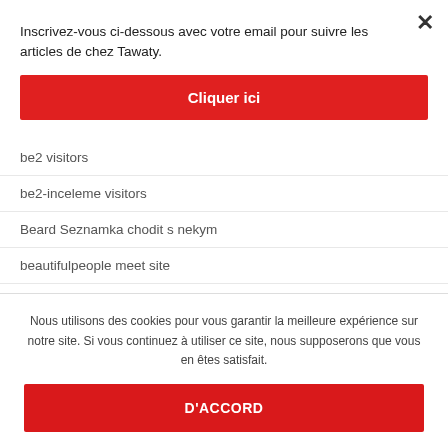Inscrivez-vous ci-dessous avec votre email pour suivre les articles de chez Tawaty.
[Figure (other): Red button labeled 'Cliquer ici']
be2 visitors
be2-inceleme visitors
Beard Seznamka chodit s nekym
beautifulpeople meet site
beautifulpeople unf?hide
Nous utilisons des cookies pour vous garantir la meilleure expérience sur notre site. Si vous continuez à utiliser ce site, nous supposerons que vous en êtes satisfait.
[Figure (other): Red button labeled 'D'ACCORD']